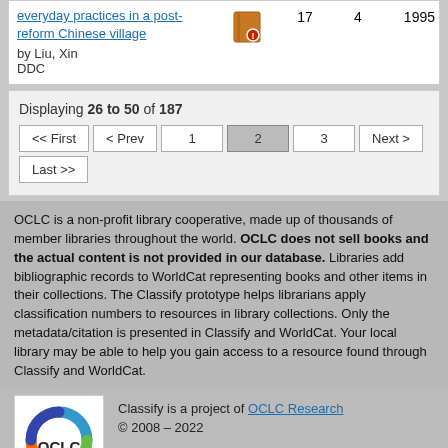| Title | Icon | Editions | Works | Year From | Year To |
| --- | --- | --- | --- | --- | --- |
| everyday practices in a post-reform Chinese village by Liu, Xin DDC | [icon] | 17 | 4 | 1995 | 1995 |
Displaying 26 to 50 of 187
<< First  < Prev  1  2  3  Next >  Last >>
OCLC is a non-profit library cooperative, made up of thousands of member libraries throughout the world. OCLC does not sell books and the actual content is not provided in our database. Libraries add bibliographic records to WorldCat representing books and other items in their collections. The Classify prototype helps librarians apply classification numbers to resources in library collections. Only the metadata/citation is presented in Classify and WorldCat. Your local library may be able to help you gain access to a resource found through Classify and WorldCat.
[Figure (logo): OCLC logo with circular colored arcs and OCLC text]
Classify is a project of OCLC Research
© 2008 – 2022